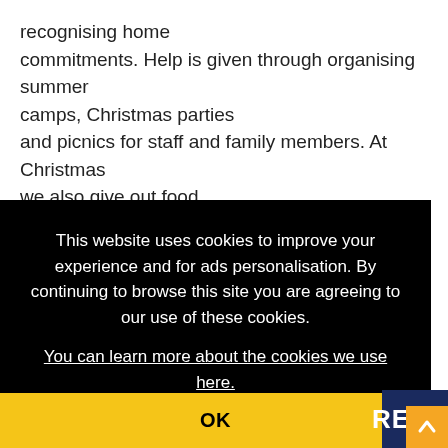recognising home commitments. Help is given through organising summer camps, Christmas parties and picnics for staff and family members. At Christmas we also give out food baskets for the family," says Gonzalez. "And this is a
This website uses cookies to improve your experience and for ads personalisation. By continuing to browse this site you are agreeing to our use of these cookies.
You can learn more about the cookies we use here.
OK
REGIS